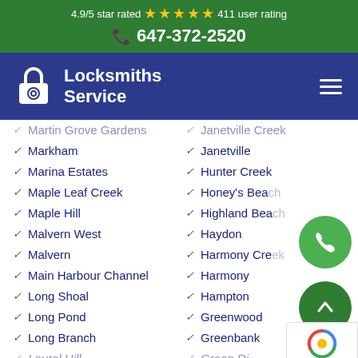4.9/5 star rated ★★★★★ 411 user rating
☎ 647-372-2520
[Figure (logo): Locksmiths Service logo with padlock icon on blue navigation bar with hamburger menu]
Martin Grove Gardens
Janetville Creek
Markham
Janetville
Marina Estates
Hunter Creek
Maple Leaf Creek
Honey's Beach
Maple Hill
Highland Beach
Malvern West
Haydon
Malvern
Harmony Creek
Main Harbour Channel
Harmony
Long Shoal
Hampton
Long Pond
Greenwood
Long Branch
Greenbank